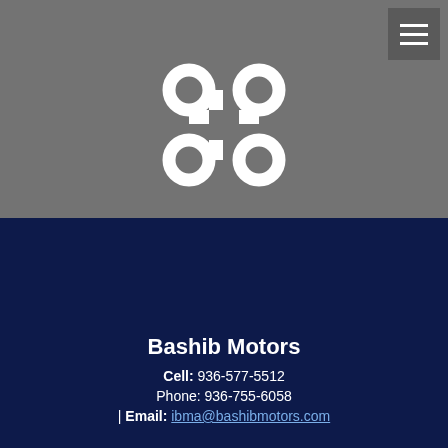[Figure (logo): Bashib Motors logo: a command key / looped square symbol in white on a gray background, with a hamburger menu icon button in the top right corner]
Bashib Motors
Cell: 936-577-5512
Phone: 936-755-6058
| Email: ibma@bashibmotors.com